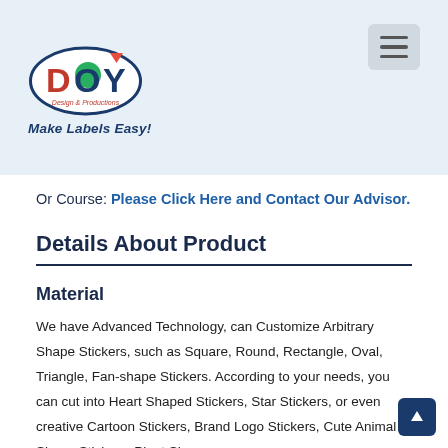DOY Design & Productions — Make Labels Easy!
Or Course: Please Click Here and Contact Our Advisor.
Details About Product
Material
We have Advanced Technology, can Customize Arbitrary Shape Stickers, such as Square, Round, Rectangle, Oval, Triangle, Fan-shape Stickers. According to your needs, you can cut into Heart Shaped Stickers, Star Stickers, or even creative Cartoon Stickers, Brand Logo Stickers, Cute Animal Shape Stickers, Plant Shape